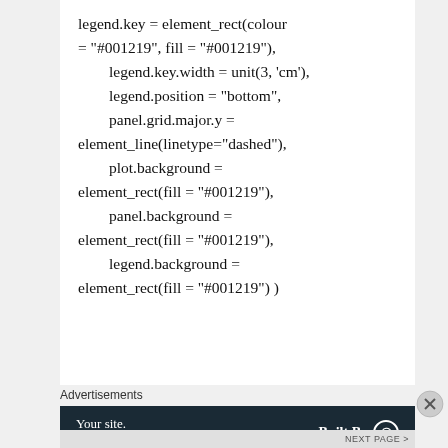legend.key = element_rect(colour = "#001219", fill = "#001219"),
        legend.key.width = unit(3, 'cm'),
        legend.position = "bottom",
        panel.grid.major.y = element_line(linetype="dashed"),
        plot.background = element_rect(fill = "#001219"),
        panel.background = element_rect(fill = "#001219"),
        legend.background = element_rect(fill = "#001219") )
Advertisements
[Figure (other): Advertisement banner with dark navy background reading 'Your site. Built by us. Built for you.' with 'Built By WordPress' logo on the right.]